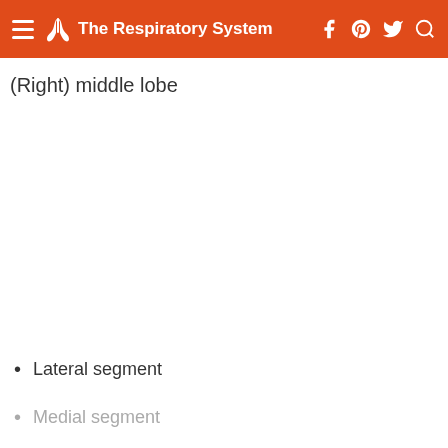The Respiratory System
(Right) middle lobe
Lateral segment
Medial segment